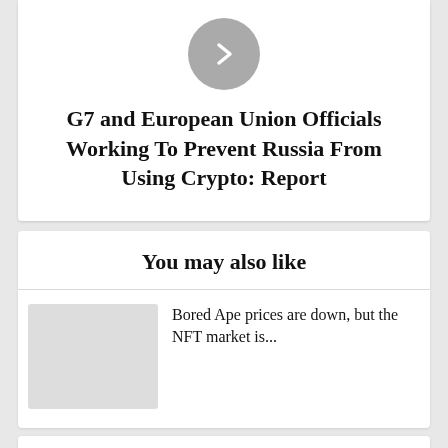[Figure (other): A circular grey button with a right-pointing chevron arrow icon]
G7 and European Union Officials Working To Prevent Russia From Using Crypto: Report
You may also like
Bored Ape prices are down, but the NFT market is...
Argentina's Mendoza province now accepting...